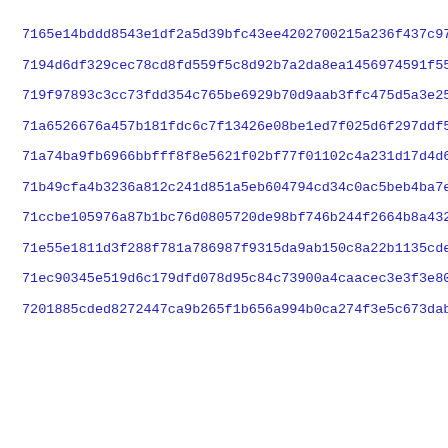7165e14bddd8543e1df2a5d39bfc43ee4202700215a236f437c9734b7e339
7194d6df329cec78cd8fd559f5c8d92b7a2da8ea1456974591f55c2e79632
719f97893c3cc73fdd354c765be6929b70d9aab3ffc475d5a3e251a58731b
71a6526676a457b181fdc6c7f13426e08be1ed7f025d6f297ddf5cebb0f46
71a74ba9fb6966bbfff8f8e5621f02bf77f01102c4a231d17d4d6ac37b193
71b49cfa4b3236a812c241d851a5eb604794cd34c0ac5beb4ba7e6005d327
71ccbe105976a87b1bc76d0805720de98bf746b244f2664b8a432655379ce
71e55e1811d3f288f781a786987f9315da9ab150c8a22b1135cde9c02615b
71ec90345e519d6c179dfd078d95c84c73900a4caacec3e3f3e8087ff04ef
7201885cded8272447ca9b265f1b656a994b0ca274f3e5c673dab78b549e3